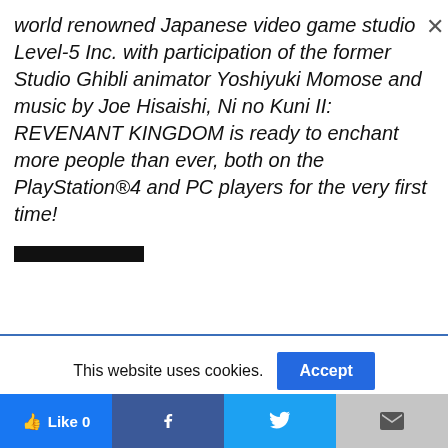world renowned Japanese video game studio Level-5 Inc. with participation of the former Studio Ghibli animator Yoshiyuki Momose and music by Joe Hisaishi, Ni no Kuni II: REVENANT KINGDOM is ready to enchant more people than ever, both on the PlayStation®4 and PC players for the very first time!
This website uses cookies.
Accept